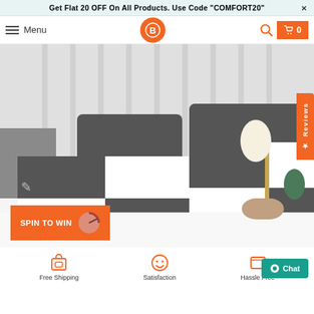Get Flat 20 OFF On All Products. Use Code "COMFORT20"  ×
Menu | [Logo] | Search | Cart 0
[Figure (photo): Bed with checkered dark grey and white pillowcases/pillow covers on a white bed, with a bedside lamp visible on the right. A 'Reviews' orange tab on the right edge. Left navigation arrow visible.]
SPIN TO WIN
Free Shipping
Satisfaction
Hassle Free
Chat